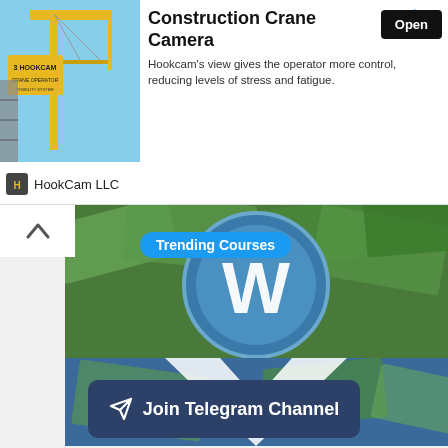[Figure (photo): Advertisement banner for HookCam LLC featuring a construction crane camera photo on the left, bold title 'Construction Crane Camera', description text, Open button, and HookCam LLC logo/name at the bottom left. Has navigation arrow icons top right.]
Construction Crane Camera
Hookcam's view gives the operator more control, reducing levels of stress and fatigue.
HookCam LLC
[Figure (photo): Large WordPress logo (blue circle with white W) overlaid on a background of US dollar bills. A blue 'Trending Courses' pill label is overlaid at top. A chevron/up-arrow is visible at top left.]
Trending Courses
Join Telegram Channel